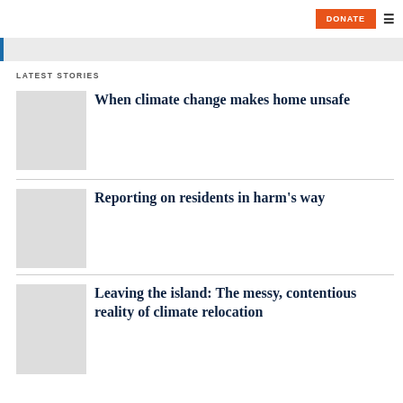DONATE ≡
LATEST STORIES
When climate change makes home unsafe
Reporting on residents in harm's way
Leaving the island: The messy, contentious reality of climate relocation